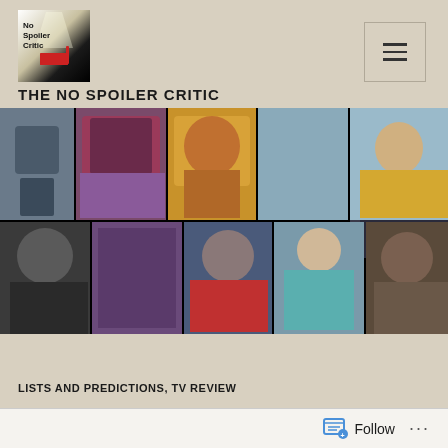[Figure (logo): No Spoiler Critic logo - black and white cinema-themed logo with text]
THE NO SPOILER CRITIC
[Figure (photo): Collage of TV show cast photos including actors from various Emmy-nominated shows - two rows of celebrity headshots on black background]
LISTS AND PREDICTIONS, TV REVIEW
Follow